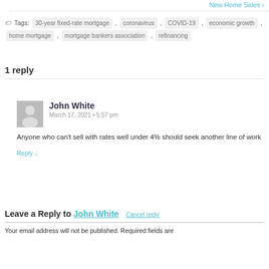New Home Sales ›
Tags: 30-year fixed-rate mortgage , coronavirus , COVID-19 , economic growth , home mortgage , mortgage bankers association , refinancing
1 reply
John White
March 17, 2021 • 5:57 pm
Anyone who can't sell with rates well under 4% should seek another line of work
Reply ↓
Leave a Reply to John White   Cancel reply
Your email address will not be published. Required fields are